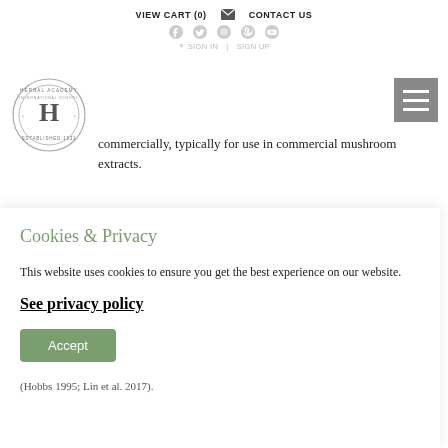VIEW CART (0)   CONTACT US
[Figure (logo): Herbal Academy International School circular logo with H monogram, established 1931]
commercially, typically for use in commercial mushroom extracts.
Cookies & Privacy
This website uses cookies to ensure you get the best experience on our website.
See privacy policy
Accept
(Hobbs 1995; Lin et al. 2017).